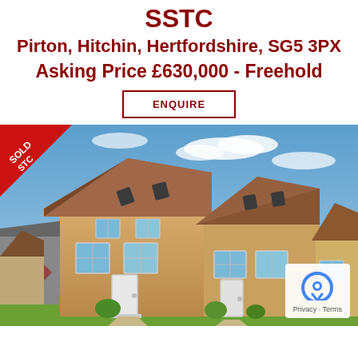SSTC
Pirton, Hitchin, Hertfordshire, SG5 3PX
Asking Price £630,000 - Freehold
ENQUIRE
[Figure (photo): Exterior photo of a new-build semi-detached house with brick facade, tiled roof with skylights, white front door, and landscaped front garden. A 'SOLD STC' red banner is shown in the top-left corner of the image.]